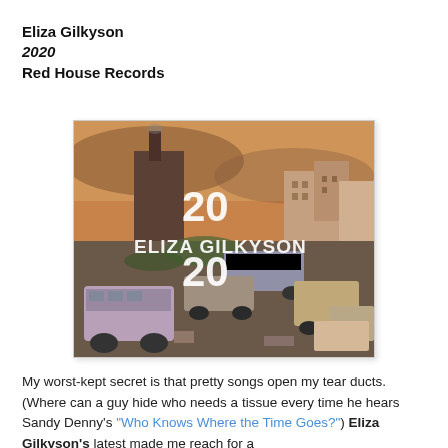Eliza Gilkyson
2020
Red House Records
[Figure (photo): Album cover for Eliza Gilkyson '2020' — a painted scene of a post-apocalyptic urban landscape with wrecked buses, buildings and factories under an orange sky, with text '20 ELIZA GILKYSON 20' overlaid in white bold type.]
My worst-kept secret is that pretty songs open my tear ducts. (Where can a guy hide who needs a tissue every time he hears Sandy Denny's "Who Knows Where the Time Goes?") Eliza Gilkyson's latest made me reach for a